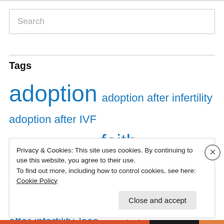Search
Tags
adoption  adoption after infertility  adoption after IVF  cancer  contemplation  faith  healing  Hodgkin's  infertile trying for another  infertility  life after infertility  loss  open adoption
Privacy & Cookies: This site uses cookies. By continuing to use this website, you agree to their use.
To find out more, including how to control cookies, see here: Cookie Policy
Close and accept